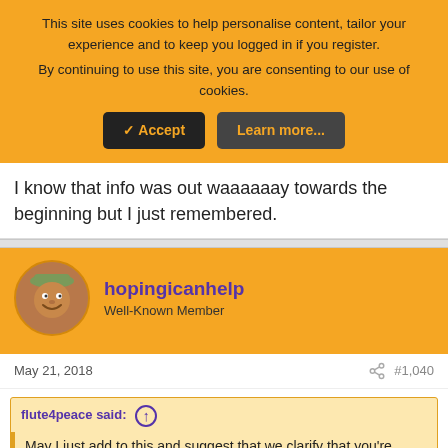This site uses cookies to help personalise content, tailor your experience and to keep you logged in if you register.
By continuing to use this site, you are consenting to our use of cookies.
[Accept] [Learn more...]
I know that info was out waaaaaay towards the beginning but I just remembered.
hopingicanhelp
Well-Known Member
May 21, 2018
#1,040
flute4peace said: ↑
May I just add to this and suggest that we clarify that you're referring to "FG family member acting as spokesperson", so that there isn't